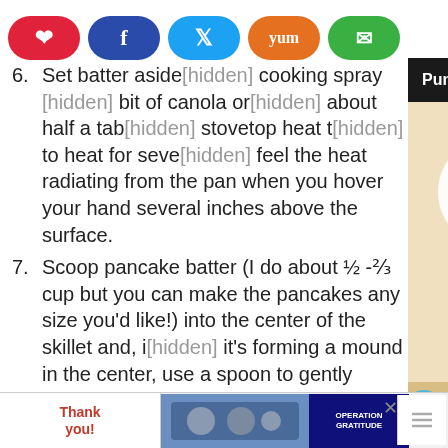[Figure (screenshot): Social share buttons: Pinterest (red), Facebook (dark blue), Twitter (light blue), Yummly (orange), Email (green), all pill-shaped with white icons]
[Figure (screenshot): Popup overlay showing 'Pumpkin Pancakes' title on dark background with X close button, and a photo of stacked pancakes on a plate with red cloth and burlap underneath]
6. Set batter aside... cooking spray or a bit of canola or... about half a tab... stovetop heat to... to heat for seve... feel the heat radiating from the pan when you hover your hand several inches above the surface.
7. Scoop pancake batter (I do about ½ -⅔ cup but you can make the pancakes any size you'd like!) into the center of the skillet and, if it's forming a mound in the center, use a spoon to gently spread the batter so you have
[Figure (screenshot): Bottom advertisement bar with 'Thank you!' text and Operation Gratitude military charity ad, with X close button]